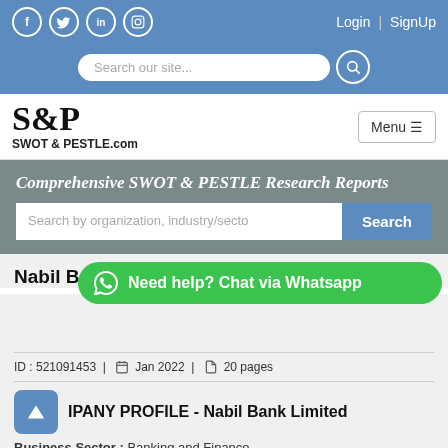Social icons: Facebook, Twitter, LinkedIn, Instagram | Login | SignUp
[Figure (screenshot): Search bar with 'Search our site...' placeholder and search icon button]
[Figure (logo): S&P SWOT & PESTLE.com logo with Menu button]
Comprehensive SWOT & PESTLE Research Reports
[Figure (screenshot): Search by organization, industry/sector input with Search button]
Nabil Bank L...
[Figure (infographic): Green WhatsApp chat button: Need help? Chat via Whatsapp]
ID : 521091453 | Jan 2022 | 20 pages
COMPANY PROFILE - Nabil Bank Limited
Business Sector : Banking and Finance